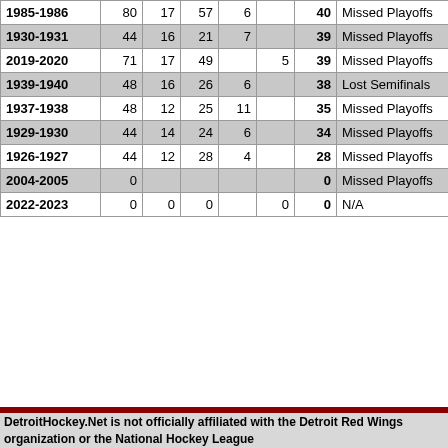| Season | GP | W | L | T | OL | Pts | Result |
| --- | --- | --- | --- | --- | --- | --- | --- |
| 1985-1986 | 80 | 17 | 57 | 6 |  | 40 | Missed Playoffs |
| 1930-1931 | 44 | 16 | 21 | 7 |  | 39 | Missed Playoffs |
| 2019-2020 | 71 | 17 | 49 |  | 5 | 39 | Missed Playoffs |
| 1939-1940 | 48 | 16 | 26 | 6 |  | 38 | Lost Semifinals |
| 1937-1938 | 48 | 12 | 25 | 11 |  | 35 | Missed Playoffs |
| 1929-1930 | 44 | 14 | 24 | 6 |  | 34 | Missed Playoffs |
| 1926-1927 | 44 | 12 | 28 | 4 |  | 28 | Missed Playoffs |
| 2004-2005 | 0 |  |  |  |  | 0 | Missed Playoffs |
| 2022-2023 | 0 | 0 | 0 |  | 0 | 0 | N/A |
DetroitHockey.Net is not officially affiliated with the Detroit Red Wings organization or the National Hockey League